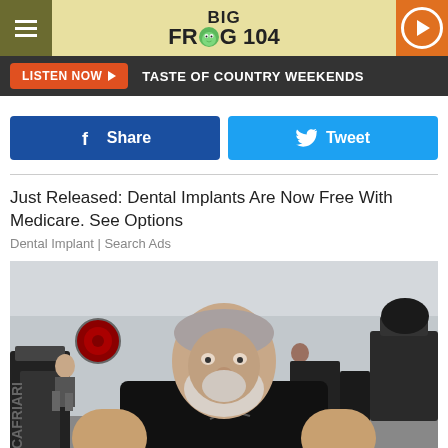[Figure (screenshot): Big Frog 104 radio station website header with logo, hamburger menu, and play button]
LISTEN NOW ▶   TASTE OF COUNTRY WEEKENDS
Share
Tweet
Just Released: Dental Implants Are Now Free With Medicare. See Options
Dental Implant | Search Ads
[Figure (photo): Older bearded man in black athletic shirt at a gym, raising both thumbs up toward camera, with gym equipment and other patrons visible in background]